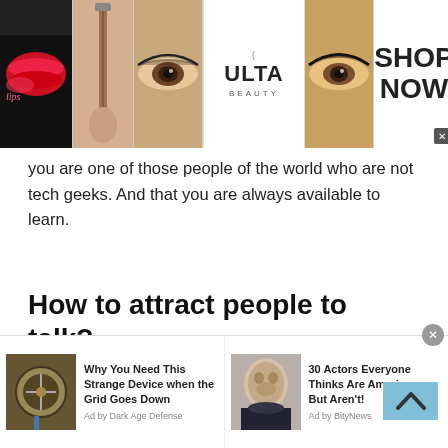[Figure (screenshot): Top banner advertisement for Ulta Beauty showing cosmetic imagery including lips, makeup brush, eye makeup, Ulta Beauty logo, and 'SHOP NOW' call to action]
you are one of those people of the world who are not tech geeks. And that you are always available to learn.
How to attract people to talk?
Now since you will be on a platform where chat with people of Malaysia or talking to a stranger is the key priority. However, there are some complications that
[Figure (screenshot): Bottom advertisement bar with two sponsored items: 'Why You Need This Strange Device when the Grid Goes Down' (Ad by Dark Age Defense) and '30 Actors Everyone Thinks Are American, But Aren't!' (Ad by BityNews)]